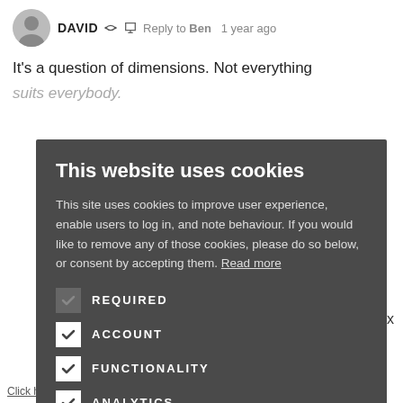DAVID  Reply to Ben  1 year ago
It's a question of dimensions. Not everything suits everybody.
[Figure (screenshot): Cookie consent modal overlay on a website comment section. Dark grey background modal with title 'This website uses cookies', body text about cookies, four checkboxes (REQUIRED, ACCOUNT, FUNCTIONALITY, ANALYTICS), ACCEPT ALL and DECLINE ALL buttons.]
This website uses cookies
This site uses cookies to improve user experience, enable users to log in, and note behaviour. If you would like to remove any of those cookies, please do so below, or consent by accepting them. Read more
REQUIRED
ACCOUNT
FUNCTIONALITY
ANALYTICS
ACCEPT ALL
DECLINE ALL
Click here to read our Privacy Policy